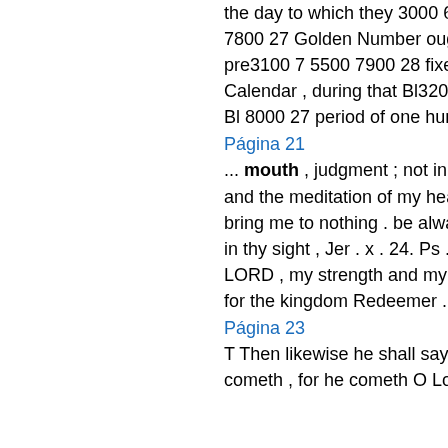the day to which they 3000 6 5400 17 7800 27 Golden Number ought to be pre3100 7 5500 7900 28 fixed in the Calendar , during that Bl3200 B 5600 117 Bl 8000 27 period of one hundred years .
Página 21
... mouth , judgment ; not in thine anger , and the meditation of my heart , lest thou bring me to nothing . be alway acceptable in thy sight , Jer . x . 24. Ps . vi . 1 . O LORD , my strength and my Repent ye ; for the kingdom Redeemer ...
Página 23
T Then likewise he shall say , For he cometh , for he cometh O Lord , open